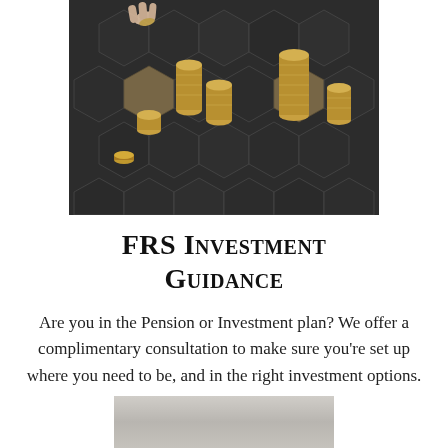[Figure (photo): Photo of stacked gold coins arranged on a dark hexagonal tiled surface, with a hand placing a coin on top of one stack]
FRS Investment Guidance
Are you in the Pension or Investment plan? We offer a complimentary consultation to make sure you’re set up where you need to be, and in the right investment options.
[Figure (photo): Partial photo visible at bottom of page, appears to show a person in professional attire]